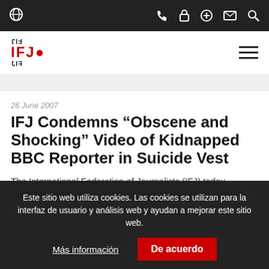Navigation bar with globe icon and phone, lock, plus, mail, search icons
[Figure (logo): IFJ logo with stylized text in black and red]
26 June 2007
IFJ Condemns “Obscene and Shocking” Video of Kidnapped BBC Reporter in Suicide Vest
The International Federation of Journalists (IFJ) today condemned the latest video showing BBC correspondent
Este sitio web utiliza cookies. Las cookies se utilizan para la interfaz de usuario y análisis web y ayudan a mejorar este sitio web.
Más información
De acuerdo